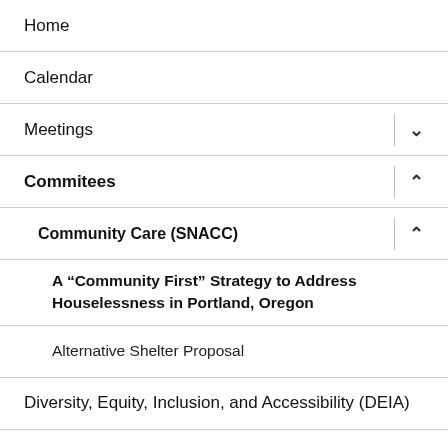Home
Calendar
Meetings
Commitees
Community Care (SNACC)
A “Community First” Strategy to Address Houselessness in Portland, Oregon
Alternative Shelter Proposal
Diversity, Equity, Inclusion, and Accessibility (DEIA)
Emergency Preparedness